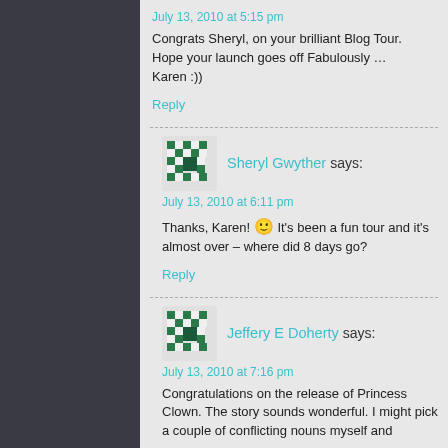July 13, 2010 at 5:15 pm
Congrats Sheryl, on your brilliant Blog Tour. Hope your launch goes off Fabulously … Karen :))
Reply
Sheryl Gwyther says:
July 13, 2010 at 6:11 pm
Thanks, Karen! 🙂 It's been a fun tour and it's almost over – where did 8 days go?
Reply
Jeffery E Doherty says:
July 13, 2010 at 7:16 pm
Congratulations on the release of Princess Clown. The story sounds wonderful. I might pick a couple of conflicting nouns myself and